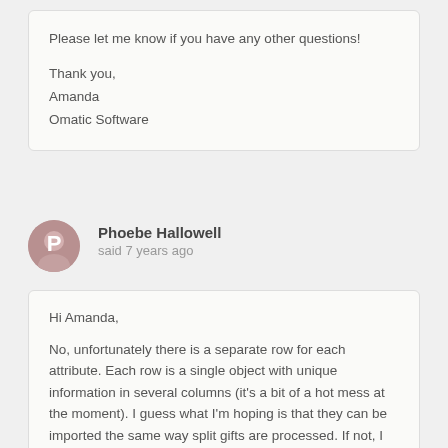Please let me know if you have any other questions!

Thank you,
Amanda
Omatic Software
Phoebe Hallowell
said 7 years ago
Hi Amanda,

No, unfortunately there is a separate row for each attribute. Each row is a single object with unique information in several columns (it's a bit of a hot mess at the moment). I guess what I'm hoping is that they can be imported the same way split gifts are processed. If not, I figured I could import the attributes separately with a gift ID or import ID.
Does that sound feasible?

Thanks!